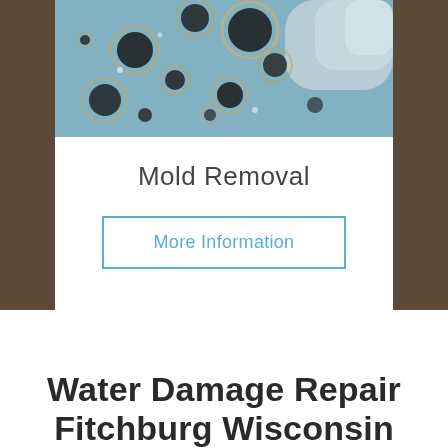[Figure (photo): Close-up photo of a petri dish with mold colonies (circular dark spots with rings on a blue-tinted surface), with a gloved hand visible in the upper right corner]
Mold Removal
More Information
Water Damage Repair Fitchburg Wisconsin